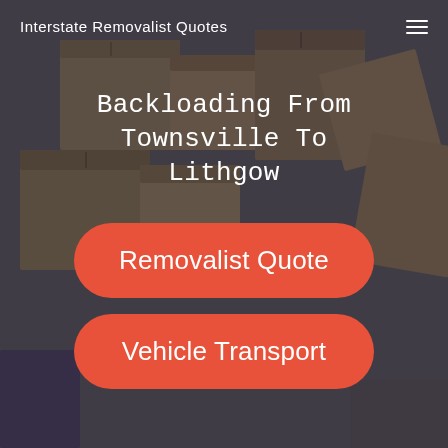Interstate Removalist Quotes
[Figure (photo): Background photo of cardboard moving boxes stacked and scattered, with a dark overlay. A person's hand and leg are partially visible in the lower corners.]
Backloading From Townsville To Lithgow
Removalist Quote
Vehicle Transport